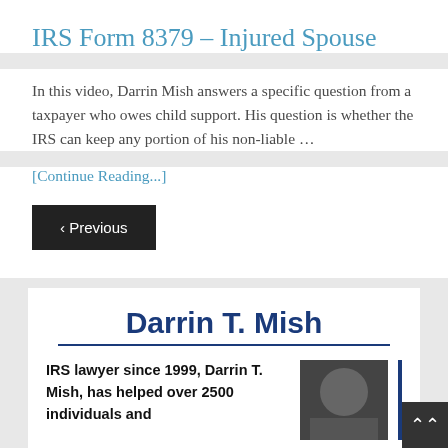IRS Form 8379 – Injured Spouse
In this video, Darrin Mish answers a specific question from a taxpayer who owes child support. His question is whether the IRS can keep any portion of his non-liable …
[Continue Reading...]
‹ Previous
Darrin T. Mish
IRS lawyer since 1999, Darrin T. Mish, has helped over 2500 individuals and